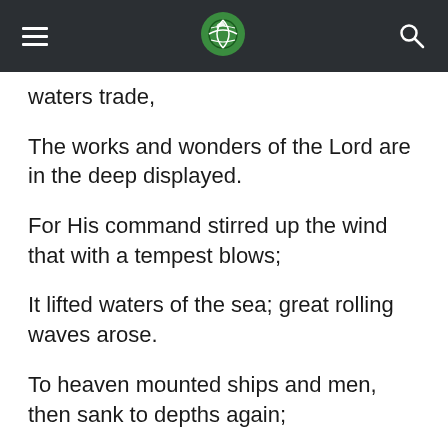Navigation bar with hamburger menu, globe logo, and search icon
waters trade,
The works and wonders of the Lord are in the deep displayed.
For His command stirred up the wind that with a tempest blows;
It lifted waters of the sea; great rolling waves arose.
To heaven mounted ships and men, then sank to depths again;